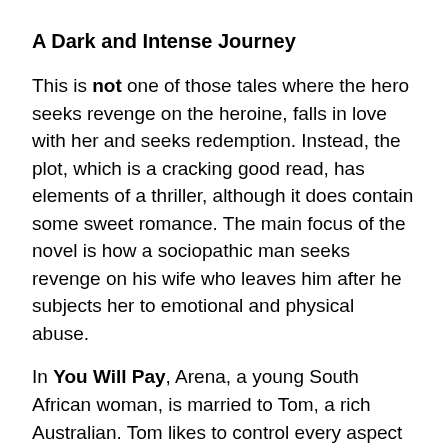A Dark and Intense Journey
This is not one of those tales where the hero seeks revenge on the heroine, falls in love with her and seeks redemption. Instead, the plot, which is a cracking good read, has elements of a thriller, although it does contain some sweet romance. The main focus of the novel is how a sociopathic man seeks revenge on his wife who leaves him after he subjects her to emotional and physical abuse.
In You Will Pay, Arena, a young South African woman, is married to Tom, a rich Australian. Tom likes to control every aspect of her life and Tom's needs and desires come first. Arena is vulnerable, her confidence has been eroded, and she is far from her family, with a young baby to cope with and no means to support herself. When things become too much, she is close to Tom to allegedly hit…